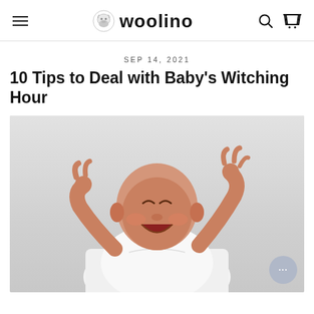woolino
SEP 14, 2021
10 Tips to Deal with Baby's Witching Hour
[Figure (photo): A crying newborn baby in a white onesie, lying on its back with both arms raised, mouth open, on a light gray background.]